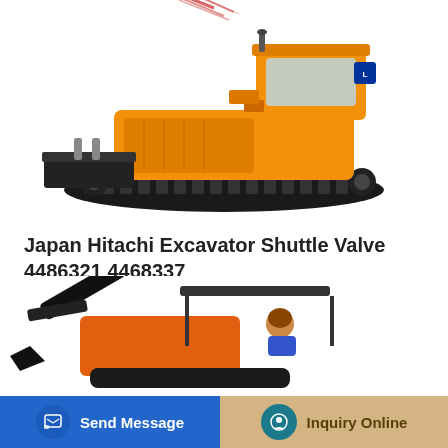[Figure (photo): Orange crawler excavator/bulldozer machine on white background, top portion visible]
Japan Hitachi Excavator Shuttle Valve 4486321 4468337
Japan Hitachi Excavator Shuttle Valve 4486321 4468337, Find Complete Details about Japan Hitachi Excavator Shuttle Valve 4486321 4468337,Shuttle Valve,4468337,Excavator...
Learn More
[Figure (photo): Orange mini excavator with operator, partially visible at bottom of page]
Send Message | Inquiry Online